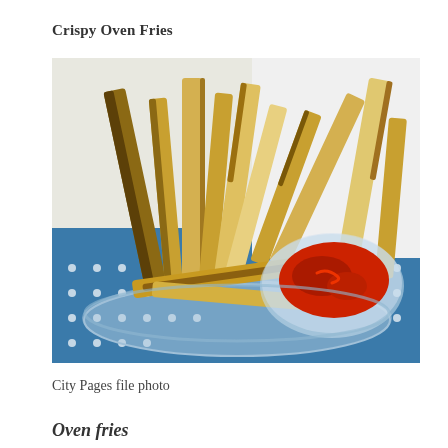Crispy Oven Fries
[Figure (photo): Photo of crispy oven-baked french fries piled in a glass bowl with a small glass bowl of ketchup beside them, served on a blue dotted surface/placemat.]
City Pages file photo
Oven fries